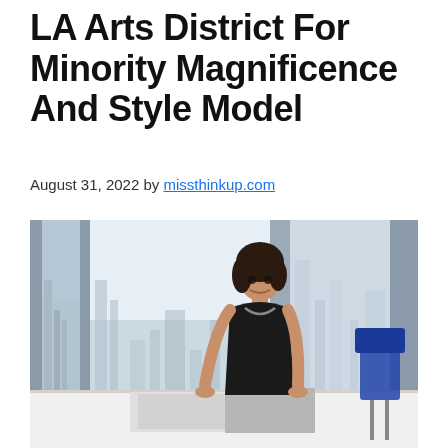LA Arts District For Minority Magnificence And Style Model
August 31, 2022 by missthinkup.com
[Figure (photo): A woman in a black sleeveless dress and necklace stands at a white table in a high-rise office or conference room, leaning on the table with both hands. Large floor-to-ceiling windows behind her reveal a cityscape. Blue modern chairs are visible to the right. Papers or magazines are spread on the table.]